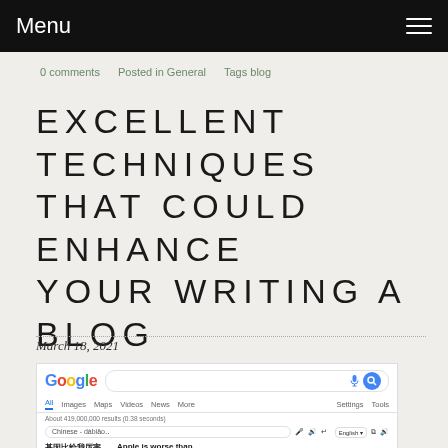Menu
0 comments   Posted in General   Tags blog
EXCELLENT TECHNIQUES THAT COULD ENHANCE YOUR WRITING A BLOG ENDEAVOURS
March 18, 2021
[Figure (screenshot): Google search results page screenshot showing the Google logo, search bar with microphone and search icons, navigation tabs (All, Images, Maps, Videos, News, More, Settings, Tools), result count 'About 419,000,000 results (0.38 seconds)', a search input row, and partial Chinese and English text results at the bottom.]